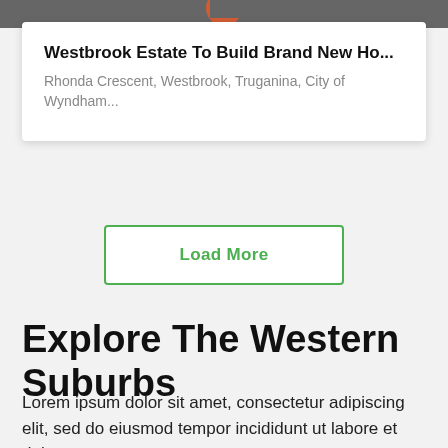[Figure (screenshot): Dark grey header bar with partial logo/icon visible (orange circle shape partially cut off)]
Westbrook Estate To Build Brand New Ho...
Rhonda Crescent, Westbrook, Truganina, City of Wyndham...
Load More
Explore The Western Suburbs
Lorem ipsum dolor sit amet, consectetur adipiscing elit, sed do eiusmod tempor incididunt ut labore et dolore magna